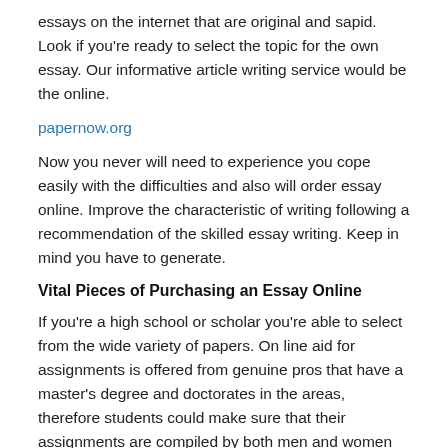essays on the internet that are original and sapid. Look if you're ready to select the topic for the own essay. Our informative article writing service would be the online.
papernow.org
Now you never will need to experience you cope easily with the difficulties and also will order essay online. Improve the characteristic of writing following a recommendation of the skilled essay writing. Keep in mind you have to generate.
Vital Pieces of Purchasing an Essay Online
If you're a high school or scholar you're able to select from the wide variety of papers. On line aid for assignments is offered from genuine pros that have a master's degree and doctorates in the areas, therefore students could make sure that their assignments are compiled by both men and women that know what they truly are authoring. While still choosing the topic students have to be cautious about picking this issue, of which they have lots of familiarities to discuss.
Ideas, Formulas and Shortcuts for Purchasing an Essay Online